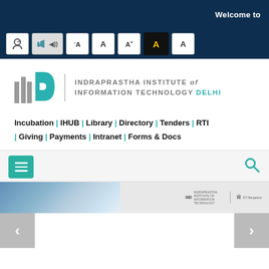Welcome to
[Figure (screenshot): Accessibility toolbar with icons for screen reader, text-to-speech, font size decrease, normal, increase, and two color contrast options (black on yellow, white on black)]
[Figure (logo): IIIT Delhi logo with stylized bars and teal D shape, vertical divider, and text: INDRAPRASTHA INSTITUTE of INFORMATION TECHNOLOGY DELHI]
Incubation | IHUB | Library | Directory | Tenders | RTI | Giving | Payments | Intranet | Forms & Docs
[Figure (screenshot): Navigation menu bar with teal hamburger menu button on left and teal search icon on right]
[Figure (screenshot): Website slider/banner area showing partial building image and IIIT Delhi logo watermarks, with left and right navigation arrows]
[Figure (screenshot): Left and right carousel navigation arrow buttons in grey]